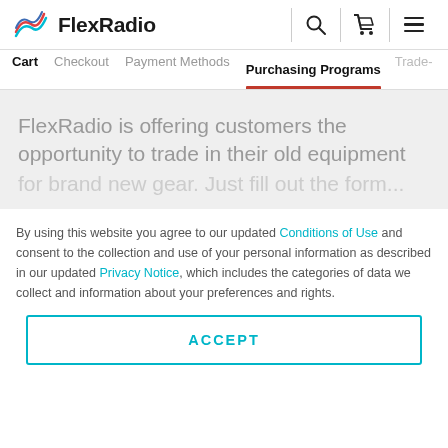[Figure (logo): FlexRadio logo with stylized wave icon and bold text 'FlexRadio']
Cart  Checkout  Payment Methods  Purchasing Programs  Trade-
FlexRadio is offering customers the opportunity to trade in their old equipment for brand new gear. Just fill out the form...
By using this website you agree to our updated Conditions of Use and consent to the collection and use of your personal information as described in our updated Privacy Notice, which includes the categories of data we collect and information about your preferences and rights.
ACCEPT